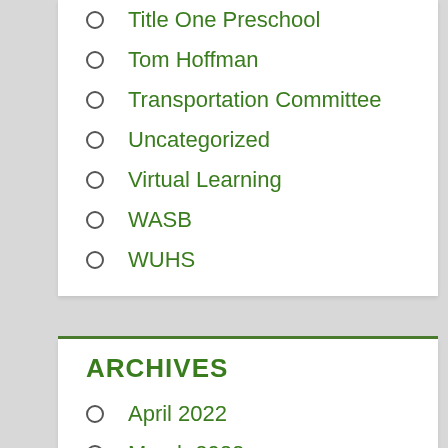Title One Preschool
Tom Hoffman
Transportation Committee
Uncategorized
Virtual Learning
WASB
WUHS
ARCHIVES
April 2022
March 2022
February 2022
January 2022